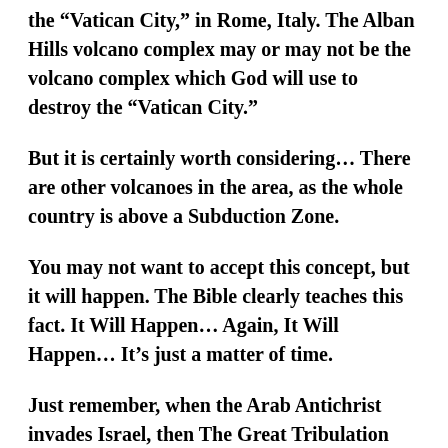the “Vatican City,” in Rome, Italy. The Alban Hills volcano complex may or may not be the volcano complex which God will use to destroy the “Vatican City.”
But it is certainly worth considering… There are other volcanoes in the area, as the whole country is above a Subduction Zone.
You may not want to accept this concept, but it will happen. The Bible clearly teaches this fact. It Will Happen… Again, It Will Happen… It’s just a matter of time.
Just remember, when the Arab Antichrist invades Israel, then The Great Tribulation